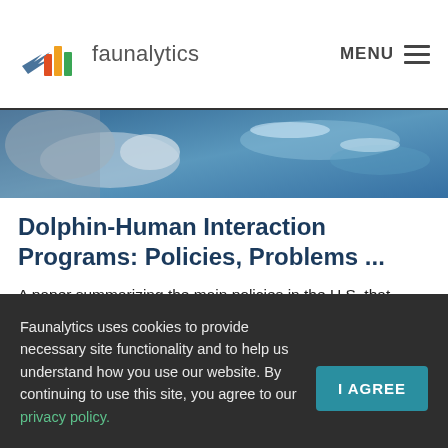faunalytics  MENU
[Figure (photo): Partial view of a dolphin and blue water, cropped hero image]
Dolphin-Human Interaction Programs: Policies, Problems ...
A paper summarizing the main policies in the U.S. that effect dolphin welfare in captivity, with recommendations
Faunalytics uses cookies to provide necessary site functionality and to help us understand how you use our website. By continuing to use this site, you agree to our privacy policy.